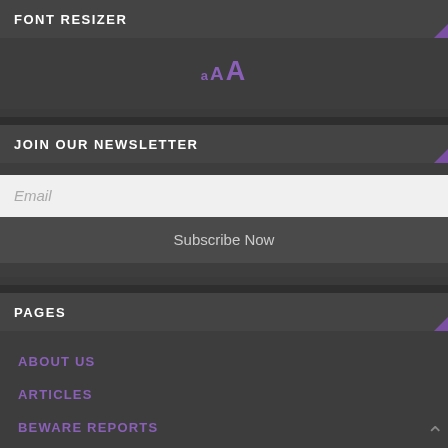FONT RESIZER
[Figure (infographic): Font resizer widget showing three sizes of the letter A in purple: small a, medium A, large A]
JOIN OUR NEWSLETTER
Email
Subscribe Now
PAGES
ABOUT US
ARTICLES
BEWARE REPORTS